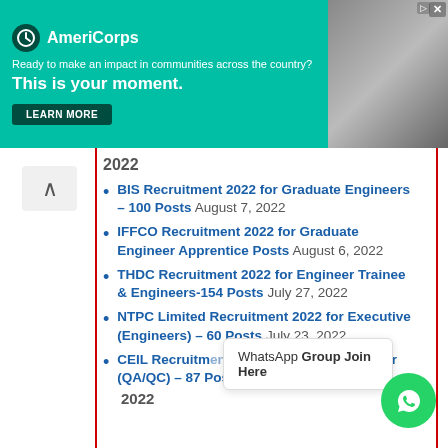[Figure (infographic): AmeriCorps advertisement banner with teal background. Logo, tagline 'Ready to make an impact in communities across the country?', headline 'This is your moment.', and LEARN MORE button. Photo on right side.]
2022
BIS Recruitment 2022 for Graduate Engineers – 100 Posts August 7, 2022
IFFCO Recruitment 2022 for Graduate Engineer Apprentice Posts August 6, 2022
THDC Recruitment 2022 for Engineer Trainee & Engineers-154 Posts July 27, 2022
NTPC Limited Recruitment 2022 for Executive (Engineers) – 60 Posts July 23, 2022
CEIL Recruitment 2022 for Quality Engineer (QA/QC) – 87 Posts July 20, 2022